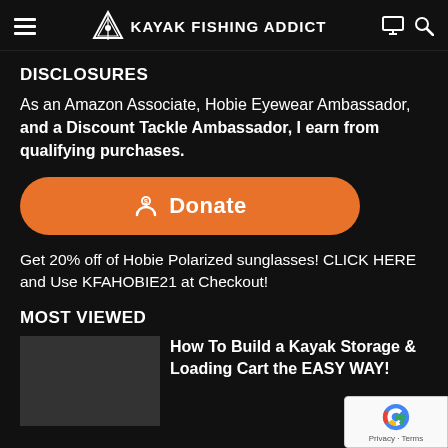KAYAK FISHING ADDICT
DISCLOSURES
As an Amazon Associate, Hobie Eyewear Ambassador, and a Discount Tackle Ambassador, I earn from qualifying purchases.
[Figure (other): Orange rounded button with dollar/person icon and the text 'Donate']
Get 20% off of Hobie Polarized sunglasses! CLICK HERE and Use KFAHOBIE21 at Checkout!
MOST VIEWED
How To Build a Kayak Storage & Loading Cart the EASY WAY!